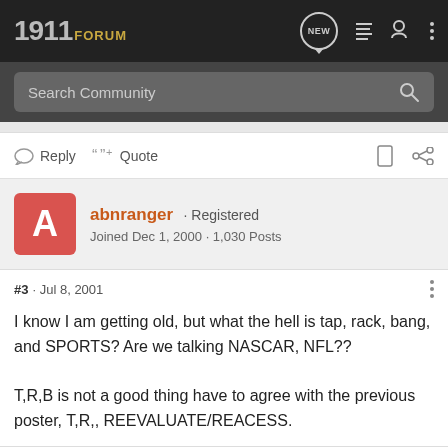1911 FORUM
Search Community
Reply   Quote
abnranger · Registered
Joined Dec 1, 2000 · 1,030 Posts
#3 · Jul 8, 2001
I know I am getting old, but what the hell is tap, rack, bang, and SPORTS? Are we talking NASCAR, NFL??

T,R,B is not a good thing have to agree with the previous poster, T,R,, REEVALUATE/REACESS.